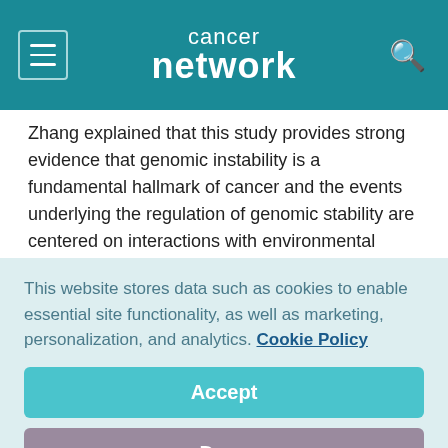cancer network
Zhang explained that this study provides strong evidence that genomic instability is a fundamental hallmark of cancer and the events underlying the regulation of genomic stability are centered on interactions with environmental factors and lifestyle (smoking). "Clonality analysis through bioinformatics analysis revealed intra-tumor heterogeneity and suggest a need for a design of sequential therapeutics," he said.
This website stores data such as cookies to enable essential site functionality, as well as marketing, personalization, and analytics. Cookie Policy
Accept
Deny